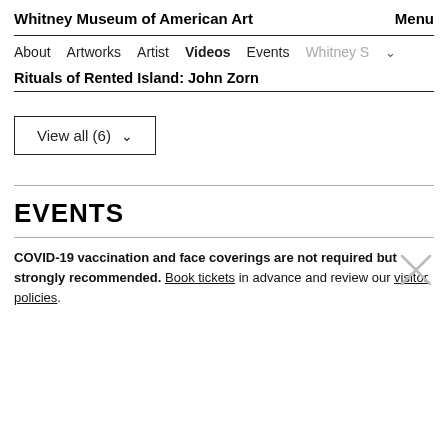Whitney Museum of American Art    Menu
About  Artworks  Artist  Videos  Events  Whitney S
Rituals of Rented Island: John Zorn
View all (6)
EVENTS
COVID-19 vaccination and face coverings are not required but strongly recommended. Book tickets in advance and review our visitor policies.